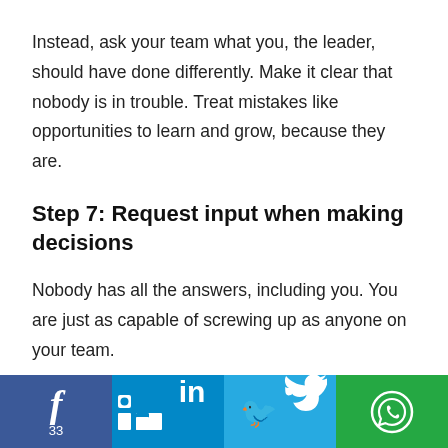Instead, ask your team what you, the leader, should have done differently. Make it clear that nobody is in trouble. Treat mistakes like opportunities to learn and grow, because they are.
Step 7: Request input when making decisions
Nobody has all the answers, including you. You are just as capable of screwing up as anyone on your team.
f 33 | in | bird icon | WhatsApp icon